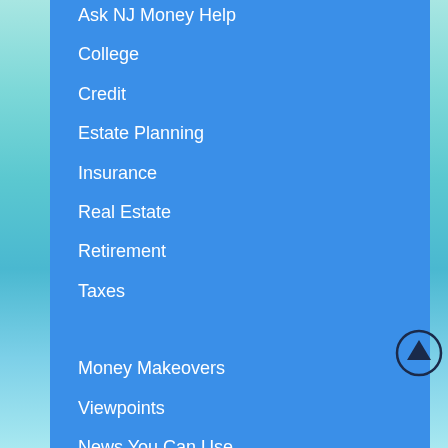Ask NJ Money Help
College
Credit
Estate Planning
Insurance
Real Estate
Retirement
Taxes
Money Makeovers
Viewpoints
News You Can Use
Special Reports